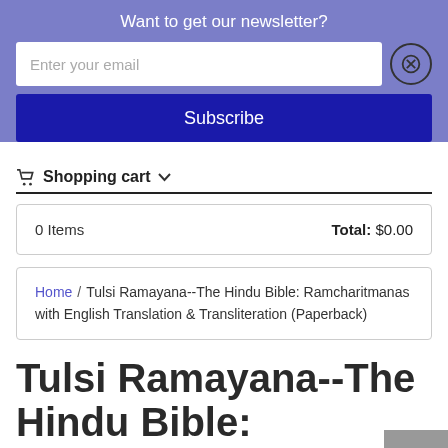Want to get our newsletter?
Enter your email
Subscribe
Shopping cart
| Items | Total |
| --- | --- |
| 0 Items | $0.00 |
Home / Tulsi Ramayana--The Hindu Bible: Ramcharitmanas with English Translation & Transliteration (Paperback)
Tulsi Ramayana--The Hindu Bible: